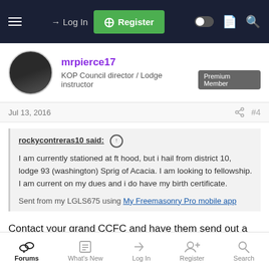Log In | Register
mrpierce17
KOP Council director / Lodge instructor | Premium Member
Jul 13, 2016 #4
rockycontreras10 said:
I am currently stationed at ft hood, but i hail from district 10, lodge 93 (washington) Sprig of Acacia. I am looking to fellowship. I am current on my dues and i do have my birth certificate.

Sent from my LGLS675 using My Freemasonry Pro mobile app
Contact your grand CCFC and have them send out a letter to the jurisdiction in witch you wish to visit
Forums | What's New | Log In | Register | Search